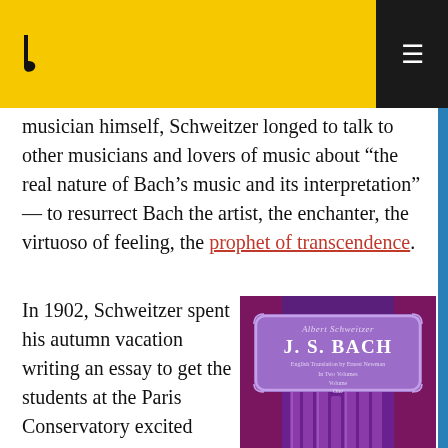musician himself, Schweitzer longed to talk to other musicians and lovers of music about “the real nature of Bach’s music and its interpretation” — to resurrect Bach the artist, the enchanter, the virtuoso of feeling, the prophet of transcendence.
In 1902, Schweitzer spent his autumn vacation writing an essay to get the students at the Paris Conservatory excited about Bach. He quickly found himself with much more to say — so much more that, after using his meager funds
[Figure (photo): Book cover of J.S. Bach by Albert Schweitzer, English Translation by Ernest Newman, In Two Volumes Volume One. Purple cover with organ pipes and decorative plaque.]